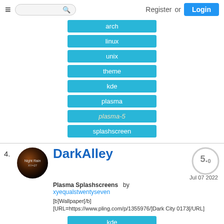Register or Login
arch
linux
unix
theme
kde
plasma
plasma-5
splashscreen
4.
[Figure (photo): DarkAlley splash screen thumbnail - circular dark image with Night Rain XY=27 text]
DarkAlley
5.0
Jul 07 2022
Plasma Splashscreens by xyequalstwentyseven
[b]Wallpaper[/b] [URL=https://www.pling.com/p/1355976/]Dark City 0173[/URL]
kde
linux
plasma
plasma-5